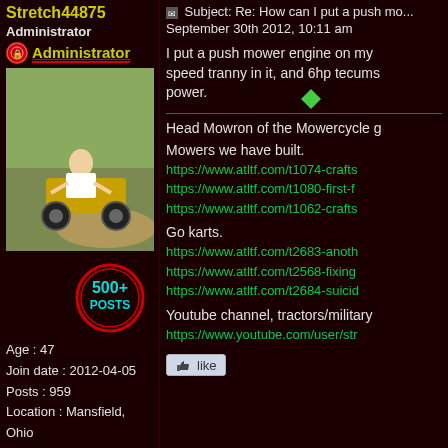Stretch44875
Administrator
Administrator
[Figure (photo): Profile photo showing a person riding a go-kart or small vehicle at speed on a dirt area near water]
[Figure (infographic): 500+ POSTS badge in red circle with cyan text]
Age : 47
Join date : 2012-04-05
Posts : 959
Location : Mansfield, Ohio
Subject: Re: How can I put a push mo...
September 30th 2012, 10:11 am
I put a push mower engine on my speed tranny in it, and 6hp tecums power.
Head Mowron of the Mowercycle g
Mowers we have built.
https://www.atltf.com/t1074-crafts
https://www.atltf.com/t1080-first-f
https://www.atltf.com/t1062-crafts
Go karts.
https://www.atltf.com/t2683-anoth
https://www.atltf.com/t2568-fixing
https://www.atltf.com/t2684-suicid
Youtube channel, tractors/military
https://www.youtube.com/user/str
like